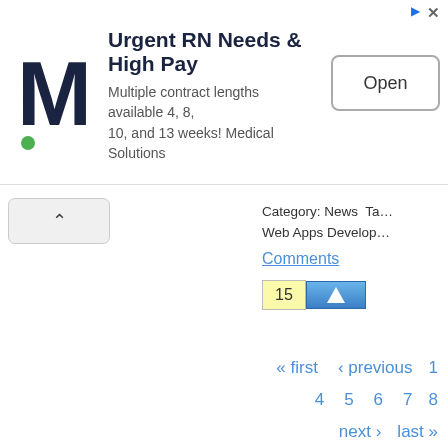[Figure (screenshot): Advertisement banner for Medical Solutions - Urgent RN Needs & High Pay, with M logo, text about contract lengths, and Open button]
Category: News  Tags: Web Apps Development
Comments
15  [upvote button]
« first  ‹ previous  1
4  5  6  7  8
next ›  last »